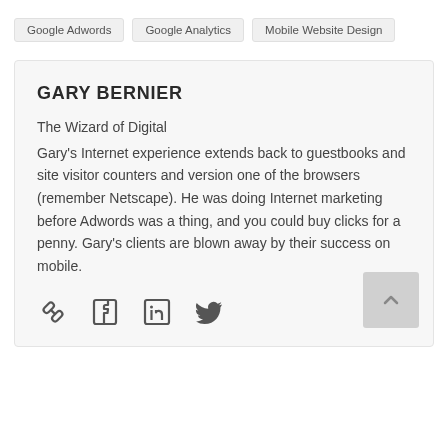Google Adwords
Google Analytics
Mobile Website Design
GARY BERNIER
The Wizard of Digital
Gary’s Internet experience extends back to guestbooks and site visitor counters and version one of the browsers (remember Netscape). He was doing Internet marketing before Adwords was a thing, and you could buy clicks for a penny. Gary’s clients are blown away by their success on mobile.
[Figure (infographic): Row of four social media icons: link/chain icon, Facebook icon, LinkedIn icon, Twitter bird icon]